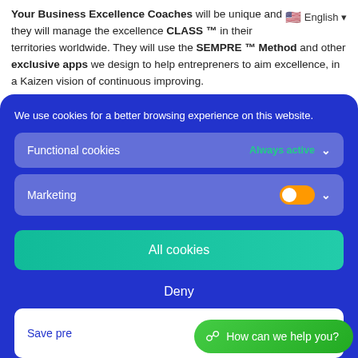Your Business Excellence Coaches will be unique and they will manage the excellence CLASS ™ in their territories worldwide. They will use the SEMPRE ™ Method and other exclusive apps we design to help entrepreners to aim excellence, in a Kaizen vision of continuous improving.
We use cookies for a better browsing experience on this website.
Functional cookies — Always active
Marketing
All cookies
Deny
Save pre...
How can we help you?